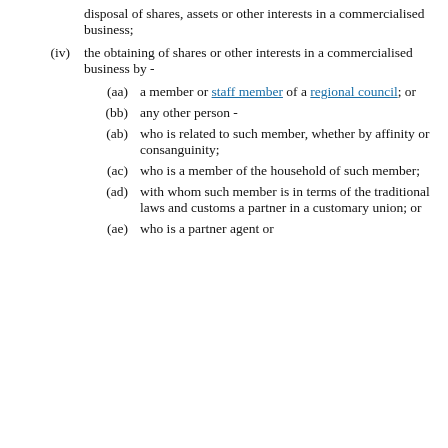disposal of shares, assets or other interests in a commercialised business;
(iv) the obtaining of shares or other interests in a commercialised business by -
(aa) a member or staff member of a regional council; or
(bb) any other person -
(ab) who is related to such member, whether by affinity or consanguinity;
(ac) who is a member of the household of such member;
(ad) with whom such member is in terms of the traditional laws and customs a partner in a customary union; or
(ae) who is a partner agent or